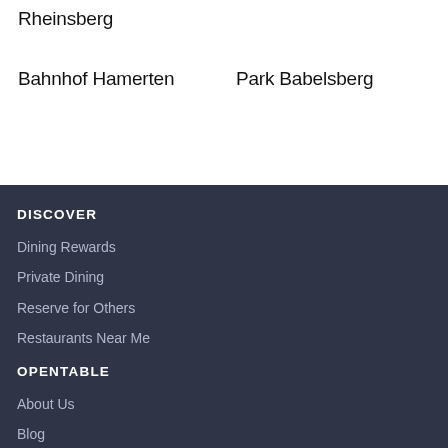Rheinsberg
Bahnhof Hamerten
Park Babelsberg
DISCOVER
Dining Rewards
Private Dining
Reserve for Others
Restaurants Near Me
OPENTABLE
About Us
Blog
Careers
Press
MORE